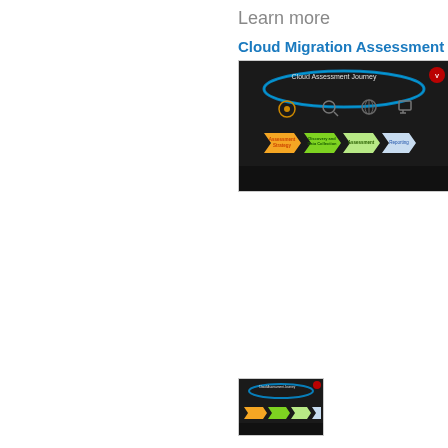Learn more
Cloud Migration Assessment
[Figure (screenshot): Cloud Assessment Journey diagram showing a dark background with a blue glowing arc. Process flow with chevron arrows labeled: Assessment Strategy (orange), Discovery and Data Collection (green), Assessment (light green), Reporting (blue). Icons above each step. Logo in top right corner.]
[Figure (screenshot): Thumbnail version of the Cloud Assessment Journey diagram, smaller version of the same image above.]